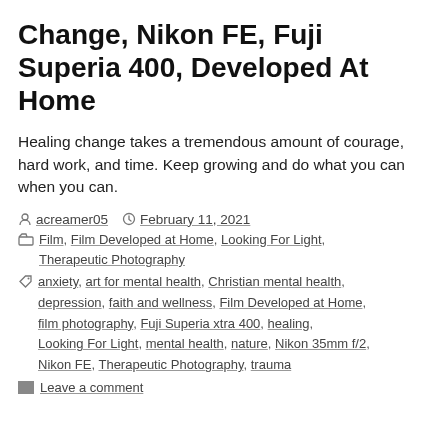Change, Nikon FE, Fuji Superia 400, Developed At Home
Healing change takes a tremendous amount of courage, hard work, and time. Keep growing and do what you can when you can.
By acreamer05  February 11, 2021
Categories: Film, Film Developed at Home, Looking For Light, Therapeutic Photography
Tags: anxiety, art for mental health, Christian mental health, depression, faith and wellness, Film Developed at Home, film photography, Fuji Superia xtra 400, healing, Looking For Light, mental health, nature, Nikon 35mm f/2, Nikon FE, Therapeutic Photography, trauma
Leave a comment